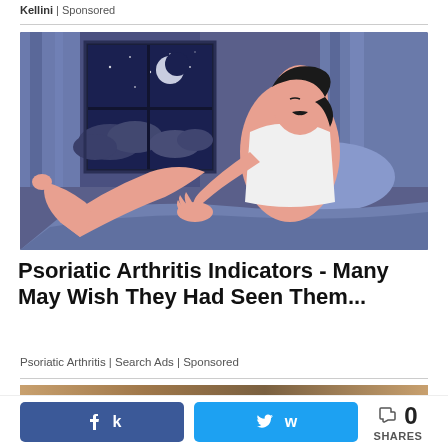Kellini | Sponsored
[Figure (illustration): Illustration of a man sitting up in bed at night, scratching his leg, with a window showing a crescent moon and clouds behind him. Drawn in a flat cartoon style with purple/blue and pink tones.]
Psoriatic Arthritis Indicators - Many May Wish They Had Seen Them...
Psoriatic Arthritis | Search Ads | Sponsored
[Figure (photo): Partial view of another article image below the divider — mostly warm brown/tan tones, cropped.]
0 SHARES